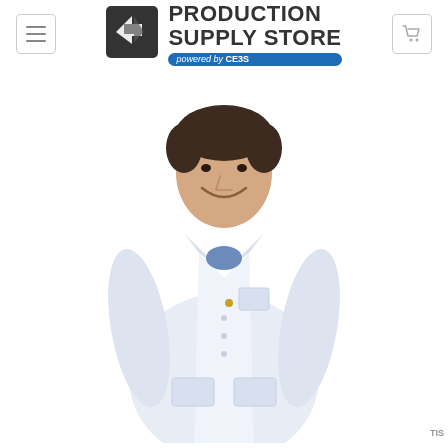Production Supply Store powered by CE3S
[Figure (photo): A man wearing a white ESD lab coat over a blue shirt, smiling at the camera against a white background. The coat has a breast pocket and two lower pockets.]